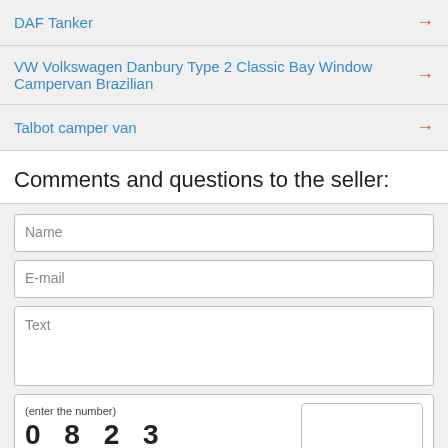DAF Tanker →
VW Volkswagen Danbury Type 2 Classic Bay Window Campervan Brazilian →
Talbot camper van →
Comments and questions to the seller:
Name (form field)
E-mail (form field)
Text (form field)
(enter the number) 0 8 2 3